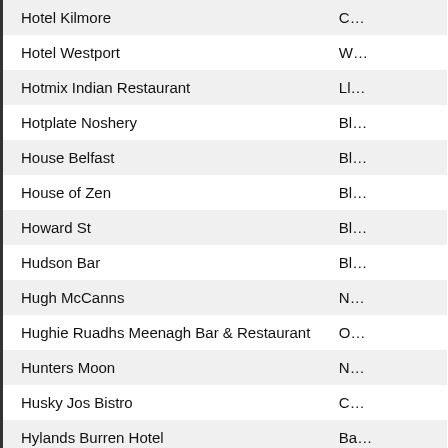| Name | Location |
| --- | --- |
| Hotel Kilmore | C… |
| Hotel Westport | W… |
| Hotmix Indian Restaurant | LI… |
| Hotplate Noshery | Bl… |
| House Belfast | Bl… |
| House of Zen | Bl… |
| Howard St | Bl… |
| Hudson Bar | Bl… |
| Hugh McCanns | N… |
| Hughie Ruadhs Meenagh Bar & Restaurant | O… |
| Hunters Moon | N… |
| Husky Jos Bistro | C… |
| Hylands Burren Hotel | Ba… |
| Ice House Hotel | Ba… |
| Icon Restaurant & Wine Bar | D… |
| ifex 2018 | Bl… |
| il Pirata | Bl… |
| Imperial Hotel | D… |